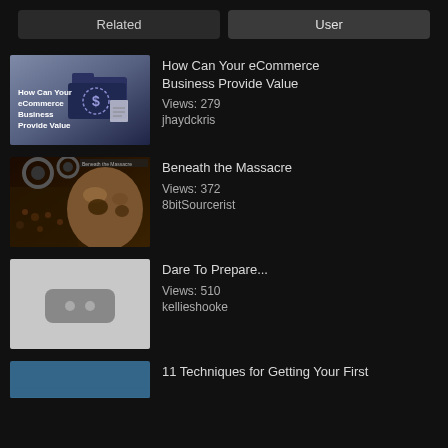Related | User
[Figure (screenshot): Video thumbnail: How Can Your eCommerce Business Provide Value - folder with dollar sign graphic on dark blue/gray background]
How Can Your eCommerce Business Provide Value
Views: 279
jhaydckris
[Figure (photo): Video thumbnail: Beneath the Massacre - dark album art with skulls and a face]
Beneath the Massacre
Views: 372
8bitSourcerist
[Figure (screenshot): Video thumbnail: Dare To Prepare... - gray background with YouTube unavailable icon (rounded rectangle with two dots)]
Dare To Prepare...
Views: 510
kellieshooke
[Figure (photo): Video thumbnail: 11 Techniques for Getting Your First - partial thumbnail visible]
11 Techniques for Getting Your First